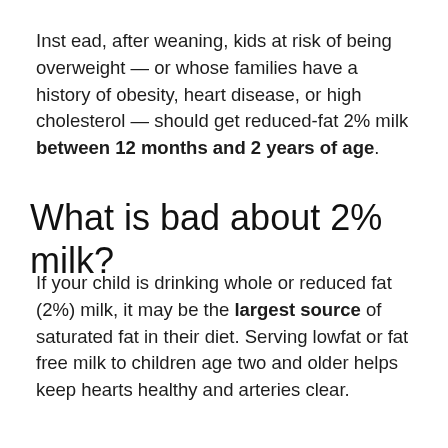Inst ead, after weaning, kids at risk of being overweight — or whose families have a history of obesity, heart disease, or high cholesterol — should get reduced-fat 2% milk between 12 months and 2 years of age.
What is bad about 2% milk?
If your child is drinking whole or reduced fat (2%) milk, it may be the largest source of saturated fat in their diet. Serving lowfat or fat free milk to children age two and older helps keep hearts healthy and arteries clear.